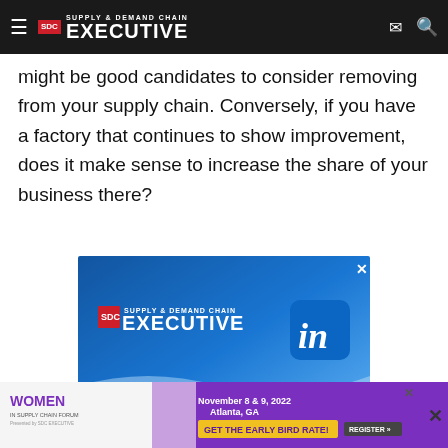SUPPLY & DEMAND CHAIN EXECUTIVE
might be good candidates to consider removing from your supply chain. Conversely, if you have a factory that continues to show improvement, does it make sense to increase the share of your business there?
[Figure (advertisement): Supply & Demand Chain Executive LinkedIn advertisement banner with blue gradient background and LinkedIn logo]
Connect with us for exclusive
[Figure (advertisement): Women In Supply Chain Forum advertisement - November 8 & 9, 2022, Atlanta, GA - Get the Early Bird Rate! Register button]